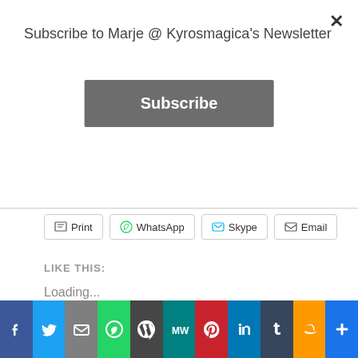Subscribe to Marje @ Kyrosmagica's Newsletter
Subscribe
Print
WhatsApp
Skype
Email
LIKE THIS:
Loading...
Sharing Options:
[Figure (other): Social sharing icons row: Facebook Like (0), Facebook, Twitter, Email, WhatsApp, WordPress, Pinterest Save]
Advertisements
The Platform Where
[Figure (other): Bottom social sharing bar with icons: Facebook, Twitter, Email, WhatsApp, WordPress, MeWe, Pinterest, LinkedIn, Tumblr, Amazon, Plus]